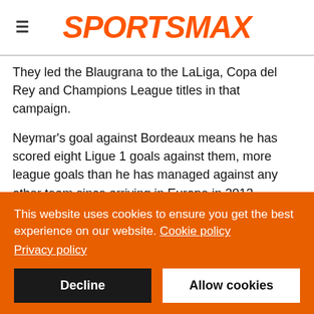SPORTSMAX
They led the Blaugrana to the LaLiga, Copa del Rey and Champions League titles in that campaign.
Neymar's goal against Bordeaux means he has scored eight Ligue 1 goals against them, more league goals than he has managed against any other team since arriving in Europe in 2013.
The dominant victory at Parc des Princes also means that PSG have won seven of their nine Ligue 1 games immediately
This website uses cookies to ensure you get the best experience on our website. Cookie policy Privacy policy
Decline
Allow cookies